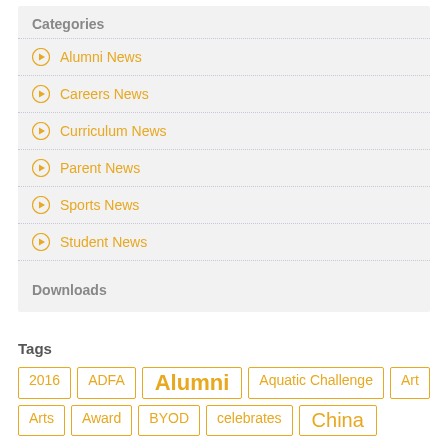Categories
Alumni News
Careers News
Curriculum News
Parent News
Sports News
Student News
Wellbeing News
Downloads
Tags
2016
ADFA
Alumni
Aquatic Challenge
Art
Arts
Award
BYOD
celebrates
China